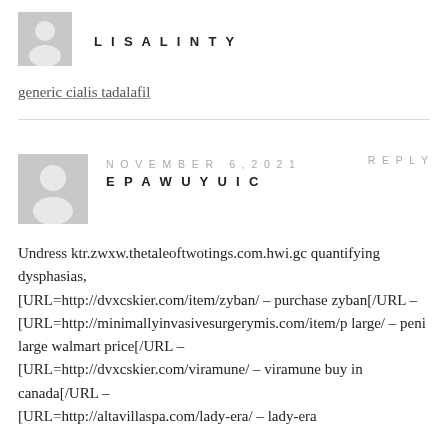[Figure (illustration): Gray placeholder avatar icon, person silhouette]
LISALINTY
generic cialis tadalafil
[Figure (illustration): Gray placeholder avatar icon, person silhouette]
NOVEMBER 6, 2021   REPLY
EPAWUYUIC
Undress ktr.zwxw.thetaleoftwotings.com.hwi.gc quantifying dysphasias, [URL=http://dvxcskier.com/item/zyban/ – purchase zyban[/URL – [URL=http://minimallyinvasivesurgerymis.com/item/p large/ – peni large walmart price[/URL – [URL=http://dvxcskier.com/viramune/ – viramune buy in canada[/URL – [URL=http://altavillaspa.com/lady-era/ – lady-era